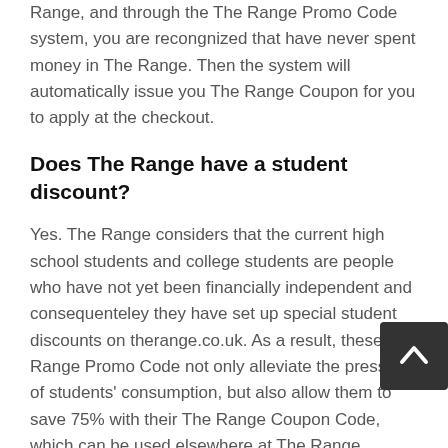Range, and through the The Range Promo Code system, you are recongnized that have never spent money in The Range. Then the system will automatically issue you The Range Coupon for you to apply at the checkout.
Does The Range have a student discount?
Yes. The Range considers that the current high school students and college students are people who have not yet been financially independent and consequenteley they have set up special student discounts on therange.co.uk. As a result, these The Range Promo Code not only alleviate the pressure of students' consumption, but also allow them to save 75% with their The Range Coupon Code, which can be used elsewhere at The Range.
How long do The Range Coupon Code